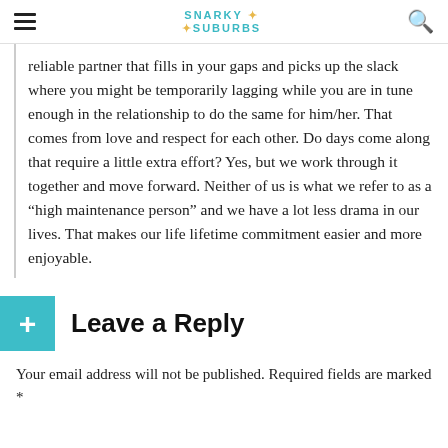Snarky in the Suburbs
reliable partner that fills in your gaps and picks up the slack where you might be temporarily lagging while you are in tune enough in the relationship to do the same for him/her. That comes from love and respect for each other. Do days come along that require a little extra effort? Yes, but we work through it together and move forward. Neither of us is what we refer to as a “high maintenance person” and we have a lot less drama in our lives. That makes our life lifetime commitment easier and more enjoyable.
Leave a Reply
Your email address will not be published. Required fields are marked *